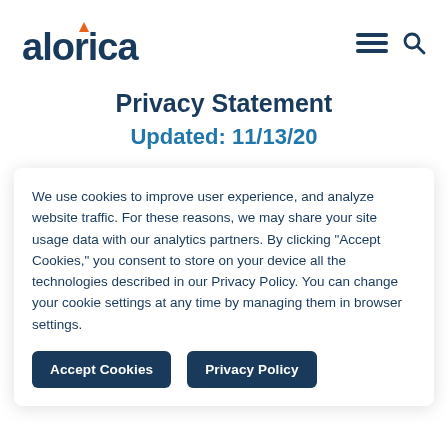alorica [logo with hamburger menu and search icon]
Privacy Statement
Updated: 11/13/20
We use cookies to improve user experience, and analyze website traffic. For these reasons, we may share your site usage data with our analytics partners. By clicking “Accept Cookies,” you consent to store on your device all the technologies described in our Privacy Policy. You can change your cookie settings at any time by managing them in browser settings.
Accept Cookies | Privacy Policy [buttons]